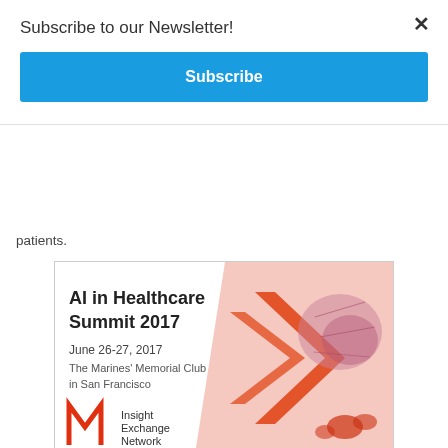Subscribe to our Newsletter!
Subscribe
patients.
[Figure (illustration): AI in Healthcare Summit 2017 advertisement banner. June 26-27, 2017. The Marines' Memorial Club in San Francisco. Insight Exchange Network logo. Orange chevron arrows and medical brain imagery on pink/red background.]
The Hexoskin software research platform is designed to generate continuous health data for the development of Artificial Intelligence (machine learning) algorithms for chronic diseases management. Hexoskin also